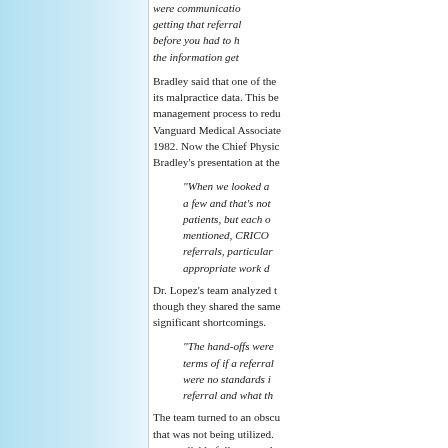were communication... getting that referral... before you had to h... the information get...
Bradley said that one of the... its malpractice data. This be... management process to redu... Vanguard Medical Associate... 1982. Now the Chief Physic... Bradley's presentation at the...
"When we looked a... a few and that's not... patients, but each o... mentioned, CRICO... referrals, particular... appropriate work d...
Dr. Lopez's team analyzed t... though they shared the same... significant shortcomings.
"The hand-offs were... terms of if a referral... were no standards i... referral and what th...
The team turned to an obscu... that was not being utilized.... more reliable follow-up whe...
Of course, not all referrals a...